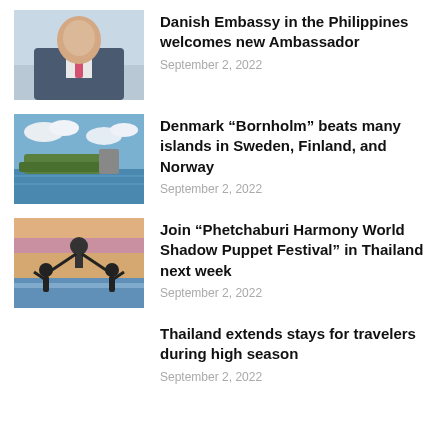[Figure (photo): Portrait photo of a man in a suit with a pink tie, partially cropped]
Danish Embassy in the Philippines welcomes new Ambassador
September 2, 2022
[Figure (photo): Coastal landscape with sea and rocky island in background under blue sky with clouds]
Denmark “Bornholm” beats many islands in Sweden, Finland, and Norway
September 2, 2022
[Figure (photo): People silhouetted holding up shadow puppet figures on a beach at sunset]
Join “Phetchaburi Harmony World Shadow Puppet Festival” in Thailand next week
September 2, 2022
Thailand extends stays for travelers during high season
September 2, 2022